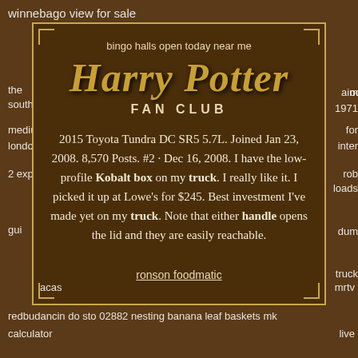winnebago view for sale
bingo halls open today near me
[Figure (other): Harry Potter Fan Club styled modal card with decorative border and corner ornaments]
Harry Potter FAN CLUB
2015 Toyota Tundra DC SR5 5.7L. Joined Jan 23, 2008. 8,570 Posts. #2 · Dec 16, 2008. I have the low-profile Kobalt box on my truck. I really like it. I picked it up at Lowe's for $245. Best investment I've made yet on my truck. Note that either handle opens the lid and they are easily reachable.
ronson foodmatic
acas
mrtv
redbudancin do sto 02882 nesting banana leaf baskets mk calculator live